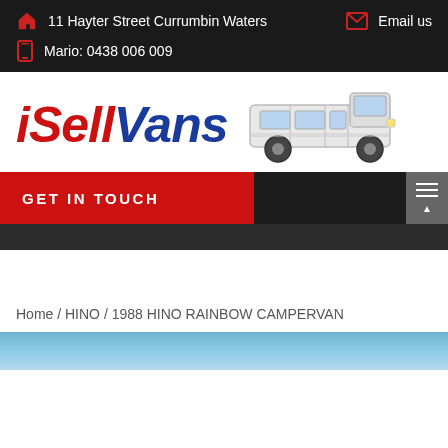11 Hayter Street Currumbin Waters   Email us   Mario: 0438 006 009
[Figure (logo): iSellVans logo with italic red 'iSell' and blue 'Vans' text, accompanied by a white van illustration]
GET IN TOUCH
Home / HINO / 1988 HINO RAINBOW CAMPERVAN
[Figure (photo): Bottom portion of a photo showing sky]